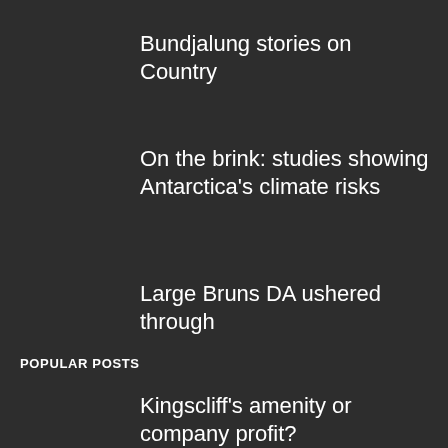Bundjalung stories on Country
On the brink: studies showing Antarctica’s climate risks
Large Bruns DA ushered through
POPULAR POSTS
Kingscliff’s amenity or company profit?